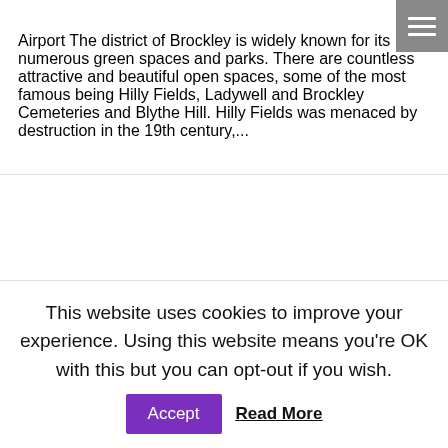Airport The district of Brockley is widely known for its numerous green spaces and parks. There are countless attractive and beautiful open spaces, some of the most famous being Hilly Fields, Ladywell and Brockley Cemeteries and Blythe Hill. Hilly Fields was menaced by destruction in the 19th century,...
Transfer from Brockley (SE4) to Luton Airport
This website uses cookies to improve your experience. Using this website means you're OK with this but you can opt-out if you wish.